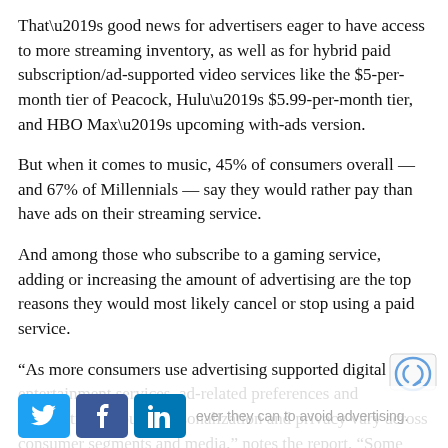That's good news for advertisers eager to have access to more streaming inventory, as well as for hybrid paid subscription/ad-supported video services like the $5-per-month tier of Peacock, Hulu's $5.99-per-month tier, and HBO Max's upcoming with-ads version.
But when it comes to music, 45% of consumers overall — and 67% of Millennials — say they would rather pay than have ads on their streaming service.
And among those who subscribe to a gaming service, adding or increasing the amount of advertising are the top reasons they would most likely cancel or stop using a paid service.
“As more consumers use advertising supported digital entertainment services, ad-related preferences and expectations around personalization and privacy vary across consumer segments and media,” notes the report. “Some people welcome ads as a way to get more content while managing costs, building their own set of go-to services, [however they can to avoid advertising.”